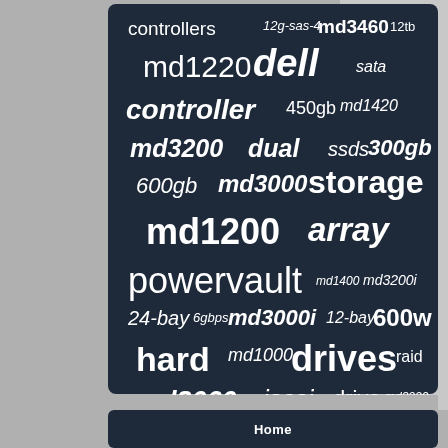[Figure (infographic): Word cloud on dark navy background featuring storage-related terms such as controllers, md3460, dell, md1220, controller, md3200, dual, storage, md1200, array, powervault, hard drives, iscsi, raid, md3000, 600gb, 300gb, ssds, sata, 450gb, md1420, 600w, md3000i, md3200i, md1400, 24-bay, 12-bay, 6gbps, md1000, md3060e, md3220, drive, etc.]
Home